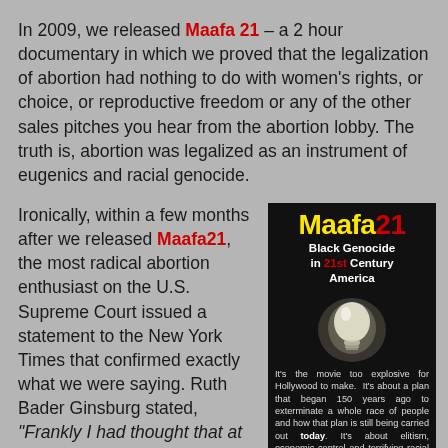In 2009, we released Maafa 21 – a 2 hour documentary in which we proved that the legalization of abortion had nothing to do with women's rights, or choice, or reproductive freedom or any of the other sales pitches you hear from the abortion lobby. The truth is, abortion was legalized as an instrument of eugenics and racial genocide.
Ironically, within a few months after we released Maafa21, the most radical abortion enthusiast on the U.S. Supreme Court issued a statement to the New York Times that confirmed exactly what we were saying. Ruth Bader Ginsburg stated, "Frankly I had thought that at the time Roe was decided, there was
[Figure (illustration): Movie cover for Maafa 21: Black Genocide in 21st Century America. Black background with glowing light bulb image. Yellow and red title text. White subtitle text. Description text about the documentary.]